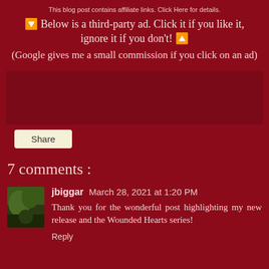This blog post contains affiliate links.  Click Here for details.
🔽 Below is a third-party ad.  Click it if you like it, ignore it if you don't! 🔼
(Google gives me a small commission if you click on an ad)
[Figure (other): Ad box placeholder area]
Share
7 comments :
[Figure (photo): Avatar photo of user jbiggar]
jbiggar  March 28, 2021 at 1:20 PM
Thank you for the wonderful post highlighting my new release and the Wounded Hearts series!
Reply